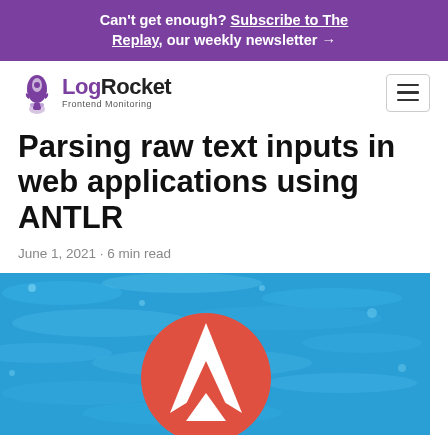Can't get enough? Subscribe to The Replay, our weekly newsletter →
[Figure (logo): LogRocket Frontend Monitoring logo with rocket icon]
Parsing raw text inputs in web applications using ANTLR
June 1, 2021 · 6 min read
[Figure (photo): Hero image showing ANTLR logo (red circle with white A arrow) over blue water background]